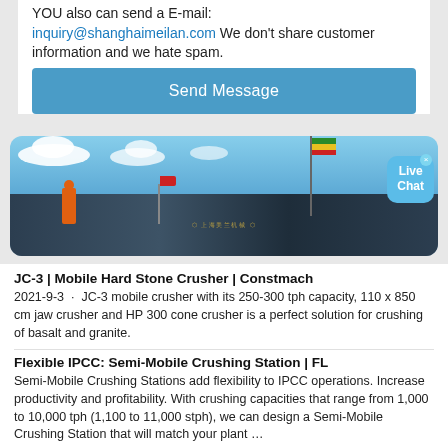YOU also can send a E-mail: inquiry@shanghaimeilan.com We don't share customer information and we hate spam.
Send Message
[Figure (photo): Outdoor industrial photo showing a large dark mobile crushing machine with a flagpole carrying a green-yellow-red flag, a smaller red flag, a worker in orange, and a blue sky with white clouds. A 'Live Chat' bubble is overlaid in the top right.]
JC-3 | Mobile Hard Stone Crusher | Constmach
2021-9-3 · JC-3 mobile crusher with its 250-300 tph capacity, 110 x 850 cm jaw crusher and HP 300 cone crusher is a perfect solution for crushing of basalt and granite.
Flexible IPCC: Semi-Mobile Crushing Station | FL
Semi-Mobile Crushing Stations add flexibility to IPCC operations. Increase productivity and profitability. With crushing capacities that range from 1,000 to 10,000 tph (1,100 to 11,000 stph), we can design a Semi-Mobile Crushing Station that will match your plant …